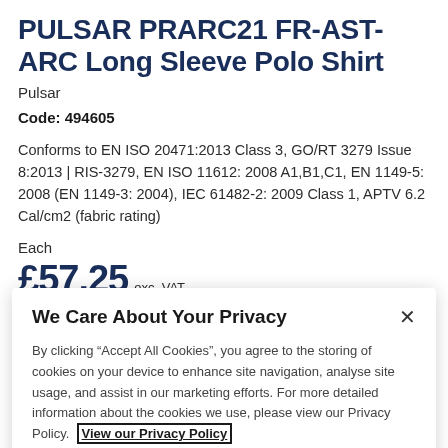PULSAR PRARC21 FR-AST-ARC Long Sleeve Polo Shirt
Pulsar
Code: 494605
Conforms to EN ISO 20471:2013 Class 3, GO/RT 3279 Issue 8:2013 | RIS-3279, EN ISO 11612: 2008 A1,B1,C1, EN 1149-5: 2008 (EN 1149-3: 2004), IEC 61482-2: 2009 Class 1, APTV 6.2 Cal/cm2 (fabric rating)
Each
£57.25 exc. VAT
We Care About Your Privacy
By clicking “Accept All Cookies”, you agree to the storing of cookies on your device to enhance site navigation, analyse site usage, and assist in our marketing efforts. For more detailed information about the cookies we use, please view our Privacy Policy. View our Privacy Policy
Cookies Settings
Accept All Cookies